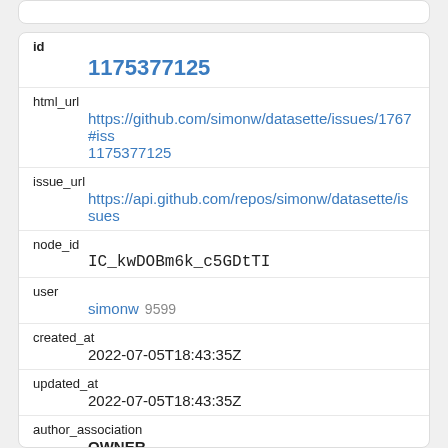id
1175377125
html_url
https://github.com/simonw/datasette/issues/1767#iss1175377125
issue_url
https://api.github.com/repos/simonw/datasette/issues
node_id
IC_kwDOBm6k_c5GDtTI
user
simonw 9599
created_at
2022-07-05T18:43:35Z
updated_at
2022-07-05T18:43:35Z
author_association
OWNER
body
I think I want this to be a default feature, not a